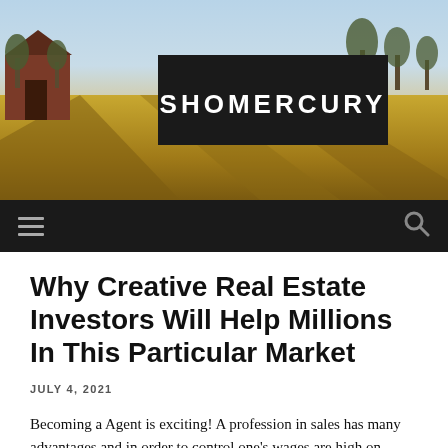[Figure (photo): Website header image showing a rural farm scene with a barn, trees and golden field. A black banner overlay in the center reads SHOMERCURY in white bold letters.]
SHOMERCURY
Why Creative Real Estate Investors Will Help Millions In This Particular Market
JULY 4, 2021
Becoming a Agent is exciting! A profession in sales has many advantages and in order to control one's wages are high on record. In addition to learning the laws and protocol surrounding the property sales process, basic